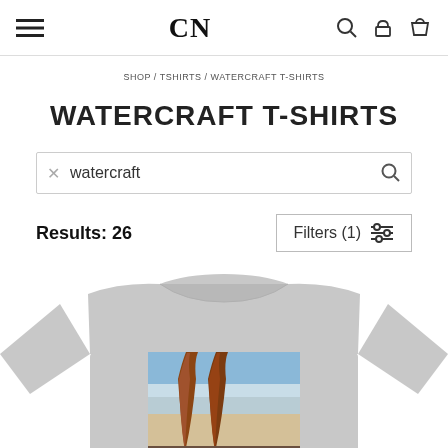CN
SHOP / TSHIRTS / WATERCRAFT T-SHIRTS
WATERCRAFT T-SHIRTS
watercraft
Results: 26
Filters (1)
[Figure (photo): A gray t-shirt with a printed photograph of two wooden canoes/kayaks on a sandy beach with ocean and sky in the background.]